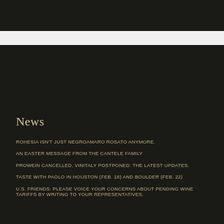News
ROHESIA ISN'T JUST NEGROAMARO ROSATO ANYMORE.
AN EASTER MESSAGE FROM THE CANTELE FAMILY
PROWEIN CANCELLED, VINITALY POSTPONED: THE LATEST UPDATES.
TASTE WITH PAOLO IN HOUSTON (FEB. 18) AND BOULDER (FEB. 22)
U.S. FRIENDS: PLEASE VOICE YOUR CONCERNS ABOUT PENDING WINE TARIFFS BY WRITING TO YOUR REPRESENTATIVES.